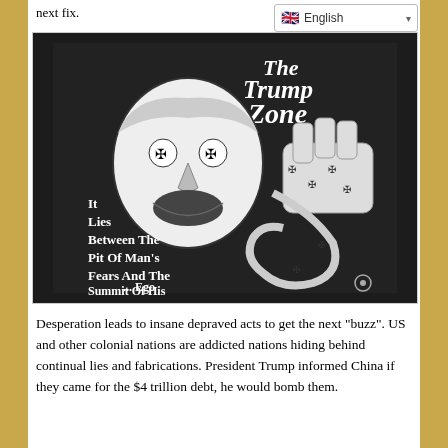next fix.
[Figure (photo): A black t-shirt with an illustration styled like The Twilight Zone, showing a caricature of Donald Trump with swastika symbols for eyes, and a fist bearing swastika symbols. Text on the shirt reads: 'The Trump Zone — It Lies Between The Pit Of Man's Fears And The Summit Of His ... Ego']
Desperation leads to insane depraved acts to get the next “buzz”. US and other colonial nations are addicted nations hiding behind continual lies and fabrications. President Trump informed China if they came for the $4 trillion debt, he would bomb them.